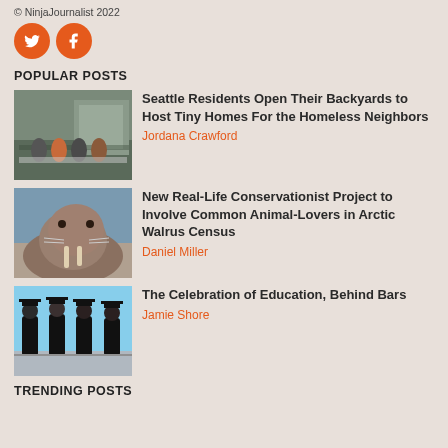© NinjaJournalist 2022
[Figure (other): Twitter and Facebook social media icon buttons, orange circular icons with white bird and f logos]
POPULAR POSTS
[Figure (photo): Group of people seated outdoors at a table near a modern building, sharing a meal]
Seattle Residents Open Their Backyards to Host Tiny Homes For the Homeless Neighbors
Jordana Crawford
[Figure (photo): A walrus resting near water, close-up showing large tusks]
New Real-Life Conservationist Project to Involve Common Animal-Lovers in Arctic Walrus Census
Daniel Miller
[Figure (photo): Several people wearing black graduation gowns and caps walking outdoors]
The Celebration of Education, Behind Bars
Jamie Shore
TRENDING POSTS